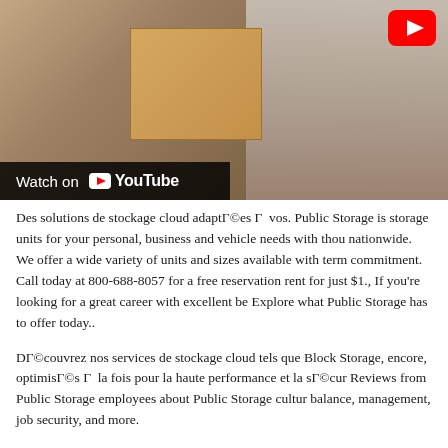[Figure (photo): YouTube video thumbnail showing a person carrying a cardboard box, with a 'Watch on YouTube' overlay at the bottom left and a red YouTube play button at the top right.]
Des solutions de stockage cloud adaptées à vos. Public Storage is storage units for your personal, business and vehicle needs with thousands nationwide. We offer a wide variety of units and sizes available with no long term commitment. Call today at 800-688-8057 for a free reservation and rent for just $1., If you're looking for a great career with excellent benefits, Explore what Public Storage has to offer today..
Découvrez nos services de stockage cloud tels que Block Storage, et encore, optimisés à la fois pour la haute performance et la sécurité. Reviews from Public Storage employees about Public Storage culture, balance, management, job security, and more.